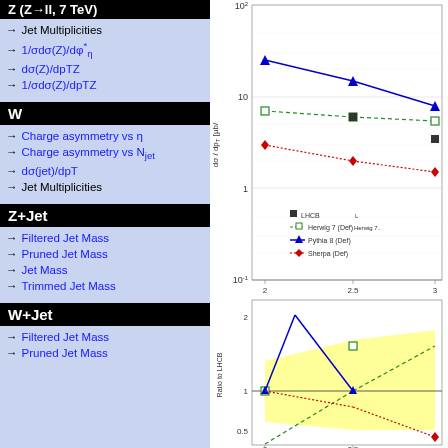Z (Z→ll, 7 TeV)
→ Jet Multiplicities
→ 1/σdσ(Z)/dφ*η
→ dσ(Z)/dpTZ
→ 1/σdσ(Z)/dpTZ
W
→ Charge asymmetry vs η
→ Charge asymmetry vs Njet
→ dσ(jet)/dpT
→ Jet Multiplicities
Z+Jet
→ Filtered Jet Mass
→ Pruned Jet Mass
→ Jet Mass
→ Trimmed Jet Mass
W+Jet
→ Filtered Jet Mass
→ Pruned Jet Mass
[Figure (continuous-plot): Log-scale plot showing dσ/dpT [μb/...] vs pT with four data series: LHCb (black squares), Herwig 7 Def (green dashed squares), Pythia 8 Def (blue solid triangles), Sherpa Def (red dotted diamonds). Below is a ratio to LHCb panel with yellow uncertainty band, showing ratios from ~0.5 to ~2.]